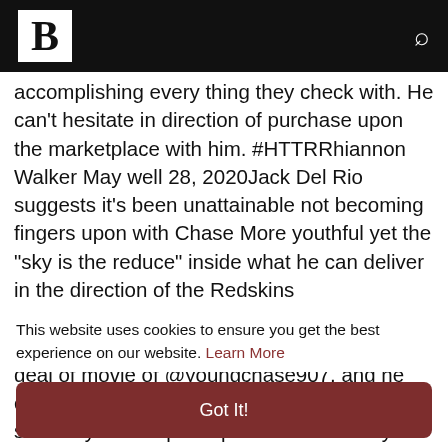B [Breitbart logo] [search icon]
accomplishing every thing they check with. He can't hesitate in direction of purchase upon the marketplace with him. #HTTRRhiannon Walker May well 28, 2020Jack Del Rio suggests it's been unattainable not becoming fingers upon with Chase More youthful yet the "sky is the reduce" inside what he can deliver in the direction of the Redskins pic.twitter.com/GZqTX7lgcWJP Finlay Could 28, 2020Del Rio consists of viewed a good deal of movie of @youngchase907, and he can now notify that he's moving toward be a seriously Terrific participant. #RedskinsKyle Stackpole May well 28, 2020Del Rio
This website uses cookies to ensure you get the best experience on our website. Learn More
Got It!